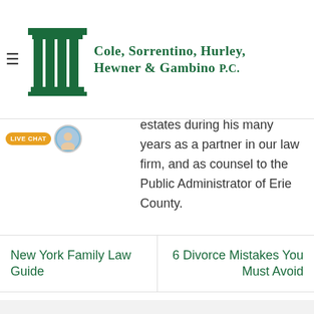[Figure (logo): Cole, Sorrentino, Hurley, Hewner & Gambino P.C. law firm logo with green columns/pillar icon and firm name in green serif text]
to discuss your will, trust or other estate planning needs. Thomas Elder is an attorney in Buffalo, NY who has handled thousands of
[Figure (photo): Live chat button with orange/yellow badge labeled LIVE CHAT and a circular avatar photo]
estates during his many years as a partner in our law firm, and as counsel to the Public Administrator of Erie County.
New York Family Law Guide
6 Divorce Mistakes You Must Avoid
Leave a Reply
Your email address will not be published. Required fields are marked *